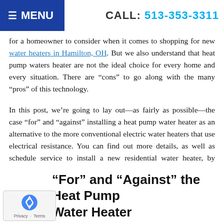MENU | CALL: 513-353-3311
[Figure (photo): Partial photo of a person in blue clothing, cropped at top right]
for a homeowner to consider when it comes to shopping for new water heaters in Hamilton, OH. But we also understand that heat pump waters heater are not the ideal choice for every home and every situation. There are “cons” to go along with the many “pros” of this technology.
In this post, we’re going to lay out—as fairly as possible—the case “for” and “against” installing a heat pump water heater as an alternative to the more conventional electric water heaters that use electrical resistance. You can find out more details, as well as schedule service to install a new residential water heater, by calling our office.
"For" and “Against” the Heat Pump Water Heater